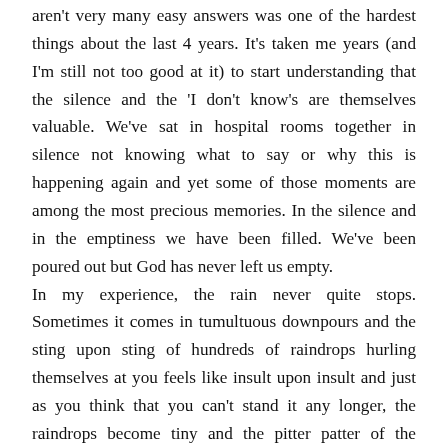aren't very many easy answers was one of the hardest things about the last 4 years. It's taken me years (and I'm still not too good at it) to start understanding that the silence and the 'I don't know's are themselves valuable. We've sat in hospital rooms together in silence not knowing what to say or why this is happening again and yet some of those moments are among the most precious memories. In the silence and in the emptiness we have been filled. We've been poured out but God has never left us empty.
In my experience, the rain never quite stops. Sometimes it comes in tumultuous downpours and the sting upon sting of hundreds of raindrops hurling themselves at you feels like insult upon insult and just as you think that you can't stand it any longer, the raindrops become tiny and the pitter patter of the shrunken droplets on your skin feels refreshing and almost comical. In that moment, don't forget to look up because it's then that you see the rainbow. That's something you've taught me. You dear, oft-unrealistic optimist. 'Hey Ruth, look at the rainbow! There's always a rainbow.' And